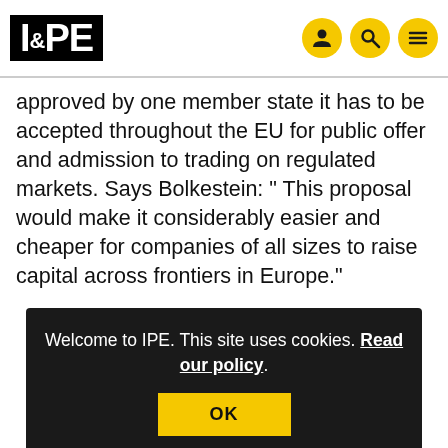IPE
approved by one member state it has to be accepted throughout the EU for public offer and admission to trading on regulated markets. Says Bolkestein: “ This proposal would make it considerably easier and cheaper for companies of all sizes to raise capital across frontiers in Europe."
Welcome to IPE. This site uses cookies. Read our policy.
OK